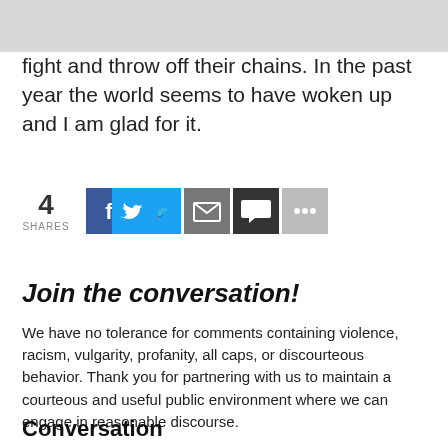fight and throw off their chains.  In the past year the world seems to have woken up and I am glad for it.
[Figure (infographic): Social sharing widget showing 4 shares with buttons for Facebook (blue), Twitter (light blue), email (gray), comment (dark gray/black), and more (light gray)]
Join the conversation!
We have no tolerance for comments containing violence, racism, vulgarity, profanity, all caps, or discourteous behavior. Thank you for partnering with us to maintain a courteous and useful public environment where we can engage in reasonable discourse.
Conversation